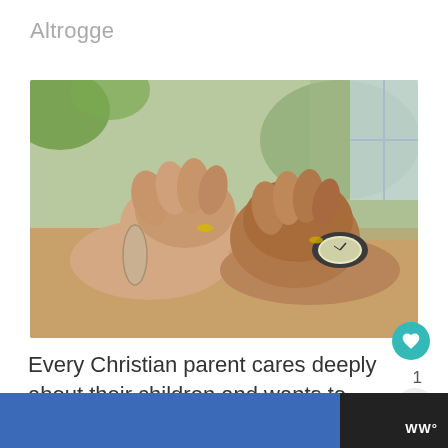Altrogge
[Figure (photo): Two pairs of hands clasped together on a wooden table, one person wearing a watch and ring, another wearing a bracelet and ring, suggesting prayer or comfort.]
Every Christian parent cares deeply about their children and wants to